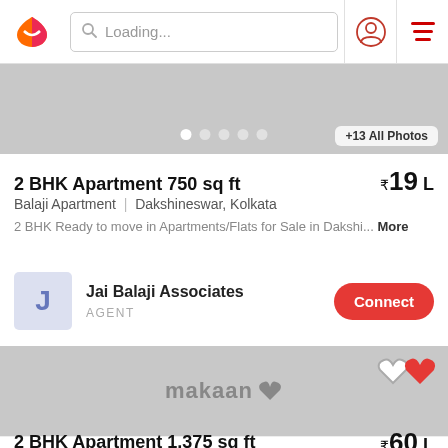Loading...
[Figure (screenshot): Partial property image strip with dots indicator and photo count button showing '+13 All Photos']
2 BHK Apartment 750 sq ft ₹19 L
Balaji Apartment | Dakshineswar, Kolkata
2 BHK Ready to move in Apartments/Flats for Sale in Dakshi... More
Jai Balaji Associates
AGENT
[Figure (screenshot): Second property listing image placeholder with Makaan logo watermark and heart icons]
2 BHK Apartment 1,375 sq ft ₹60 L